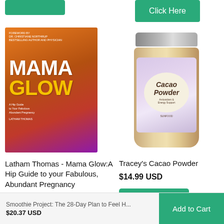[Figure (photo): Green button partially visible at top left]
[Figure (photo): Green 'Click Here' button at top right]
[Figure (photo): Book cover: Mama Glow by Latham Thomas, orange/pink/purple gradient with white MAMA and yellow GLOW text]
[Figure (photo): Jar of Tracey's Cacao Powder with purple label and beige/cream circle, brown powder visible]
Latham Thomas - Mama Glow:A Hip Guide to your Fabulous, Abundant Pregnancy
$9.99 USD
Tracey's Cacao Powder
$14.99 USD
[Figure (screenshot): Green 'Click Here' button below Cacao Powder price]
Smoothie Project: The 28-Day Plan to Feel H...
$20.37 USD
[Figure (screenshot): Green 'Add to Cart' button at bottom right]